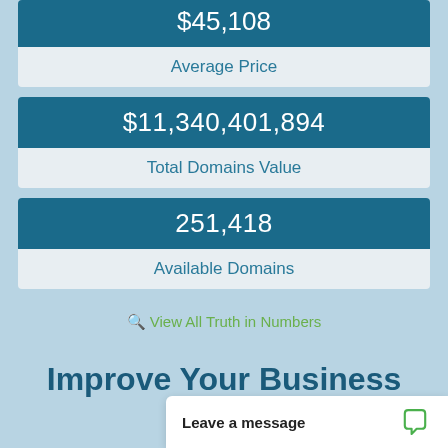$45,108
Average Price
$11,340,401,894
Total Domains Value
251,418
Available Domains
View All Truth in Numbers
Improve Your Business
Read or Li...
Leave a message